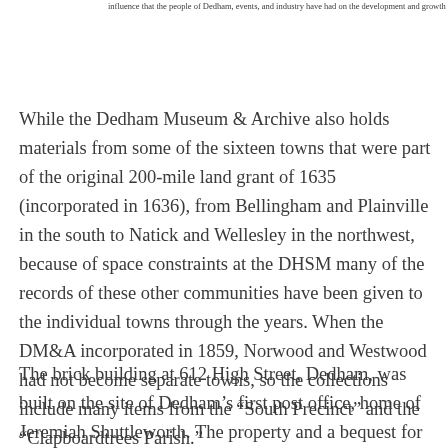influence that the people of Dedham, events, and industry have had on the development and growth of the nation.
While the Dedham Museum & Archive also holds materials from some of the sixteen towns that were part of the original 200-mile land grant of 1635 (incorporated in 1636), from Bellingham and Plainville in the south to Natick and Wellesley in the northwest, because of space constraints at the DHSM many of the records of these other communities have been given to the individual towns through the years. When the DM&A incorporated in 1859, Norwood and Westwood had not become separate towns, so the collections include many items from the “South Precinct” and the “Clapboardtrees Parish.”
The brick building at 612 High Street, Dedham, was built on the site of Dedham’s first post office, home of Jeremiah Shuttleworth. The property and a bequest for the construction were left to the Dedham Historical Society (as it was known at the time) by Hannah Shuttleworth, Jeremiah’s daughter and niece of Fisher and Nathaniel Ames. In 1888 the Shuttleworth